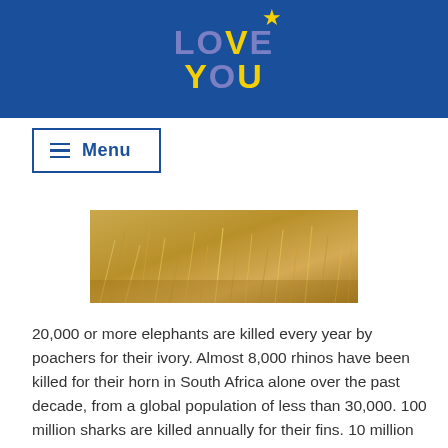[Figure (logo): LOVE YOU logo with yellow star on dark blue background header]
[Figure (photo): Close-up photo of dry golden grass or savanna vegetation]
20,000 or more elephants are killed every year by poachers for their ivory. Almost 8,000 rhinos have been killed for their horn in South Africa alone over the past decade, from a global population of less than 30,000. 100 million sharks are killed annually for their fins. 10 million pangolins are thought to have been killed in the past decade for their scales and meat. Thousands of great apes are killed each year to supply the demand for pets, attractions, bushmeat, and ceremonial body parts in a trade which may